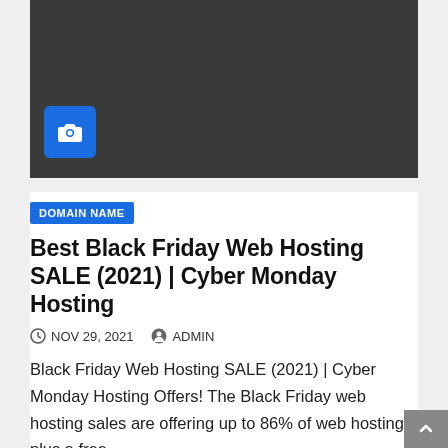[Figure (photo): Dark placeholder image with a blue camera icon in the lower left corner]
DOMAIN NAME
Best Black Friday Web Hosting SALE (2021) | Cyber Monday Hosting
NOV 29, 2021   ADMIN
Black Friday Web Hosting SALE (2021) | Cyber Monday Hosting Offers! The Black Friday web hosting sales are offering up to 86% of web hosting plus a free